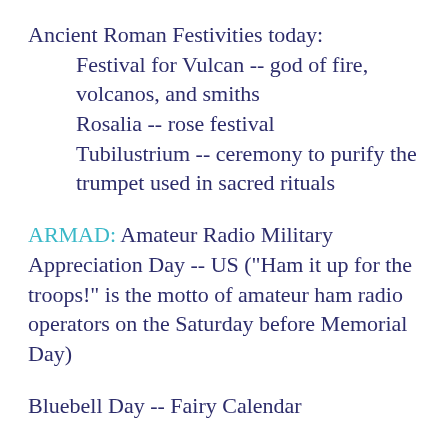Ancient Roman Festivities today:
Festival for Vulcan -- god of fire, volcanos, and smiths
Rosalia -- rose festival
Tubilustrium -- ceremony to purify the trumpet used in sacred rituals
ARMAD: Amateur Radio Military Appreciation Day -- US ("Ham it up for the troops!" is the motto of amateur ham radio operators on the Saturday before Memorial Day)
Bluebell Day -- Fairy Calendar
Declaration of the Bab -- Baha'i